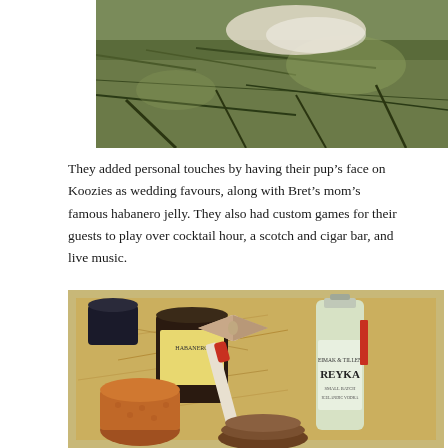[Figure (photo): Outdoor photo showing grass and what appears to be a person or fabric on the ground, top portion of image cropped]
They added personal touches by having their pup's face on Koozies as wedding favours, along with Bret's mom's famous habanero jelly. They also had custom games for their guests to play over cocktail hour, a scotch and cigar bar, and live music.
[Figure (photo): A gift box filled with straw/excelsior containing a bottle of Reyka vodka, a jar of habanero jelly, a cigar, a beige bow tie, a copper mug, and other wedding favour items]